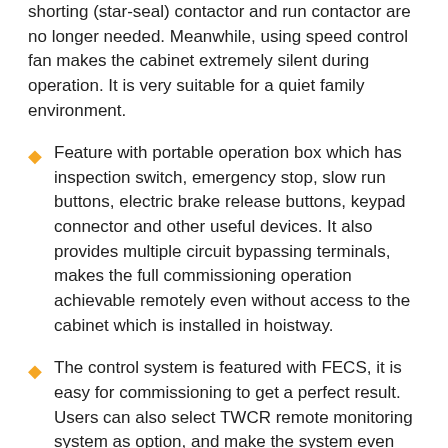shorting (star-seal) contactor and run contactor are no longer needed. Meanwhile, using speed control fan makes the cabinet extremely silent during operation. It is very suitable for a quiet family environment.
Feature with portable operation box which has inspection switch, emergency stop, slow run buttons, electric brake release buttons, keypad connector and other useful devices. It also provides multiple circuit bypassing terminals, makes the full commissioning operation achievable remotely even without access to the cabinet which is installed in hoistway.
The control system is featured with FECS, it is easy for commissioning to get a perfect result. Users can also select TWCR remote monitoring system as option, and make the system even more safe and reliable.